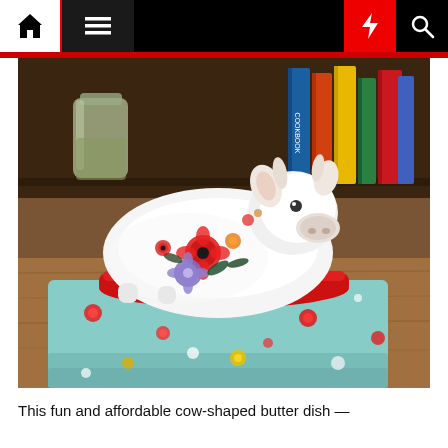Navigation bar with home, menu, dark mode, lightning, and search icons
[Figure (photo): A white ceramic cow-shaped butter dish with colorful floral decoration (red poppies, purple flowers, green leaves) sitting on a red-rimmed base/tray, placed on a light blue floral-patterned cloth/towel on a wooden surface. In the background are books and a glass jar on wooden shelves.]
This fun and affordable cow-shaped butter dish —